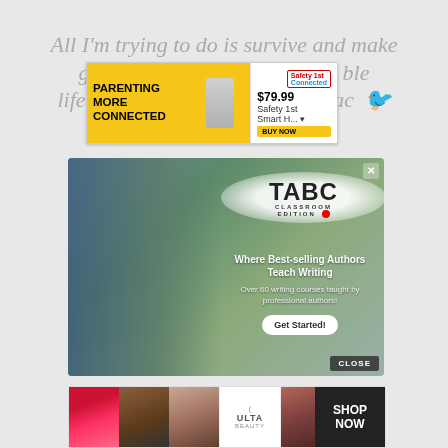All I'm trying to do is survive and make good... lifestyle that they gave me. ~2Pac
[Figure (screenshot): Top banner advertisement: PARENTING MORE CONNECTED in bold on yellow background, Safety 1st Smart H... product shown at $79.99 with BUY NOW button]
[Figure (screenshot): TABC Classroom Edition advertisement - Where Best-selling Authors Teach Writing. Over 60 writing courses taught by professional authors! Get Started! button. Shows two students in blue shirts. CLOSE button at bottom right.]
[Figure (screenshot): Ulta Beauty advertisement showing makeup/cosmetics images with SHOP NOW button]